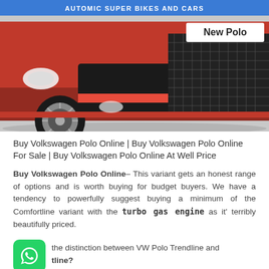AUTOMIC SUPER BIKES AND CARS
[Figure (photo): Front-lower view of a red Volkswagen New Polo car showing grille, bumper, wheel and headlight area. 'New Polo' badge visible on upper right.]
Buy Volkswagen Polo Online | Buy Volkswagen Polo Online For Sale | Buy Volkswagen Polo Online At Well Price
Buy Volkswagen Polo Online– This variant gets an honest range of options and is worth buying for budget buyers. We have a tendency to powerfully suggest buying a minimum of the Comfortline variant with the turbo gas engine as it' terribly beautifully priced.
the distinction between VW Polo Trendline and tline?